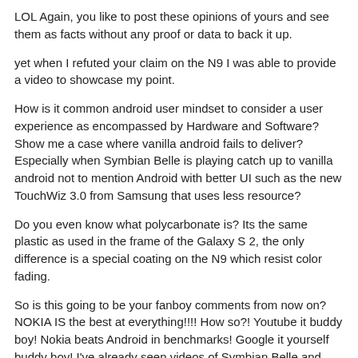LOL Again, you like to post these opinions of yours and see them as facts without any proof or data to back it up.
yet when I refuted your claim on the N9 I was able to provide a video to showcase my point.
How is it common android user mindset to consider a user experience as encompassed by Hardware and Software? Show me a case where vanilla android fails to deliver? Especially when Symbian Belle is playing catch up to vanilla android not to mention Android with better UI such as the new TouchWiz 3.0 from Samsung that uses less resource?
Do you even know what polycarbonate is? Its the same plastic as used in the frame of the Galaxy S 2, the only difference is a special coating on the N9 which resist color fading.
So is this going to be your fanboy comments from now on? NOKIA IS the best at everything!!!! How so?! Youtube it buddy boy! Nokia beats Android in benchmarks! Google it yourself buddy boy! I've already seen videos of Symbian Belle and aside from the fact that Nokia copies Android's notification bar and iOS' icon nothing is different...